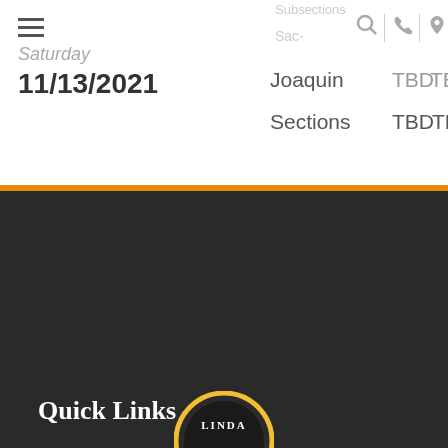Saturday
11/13/2021
Subsections
Sac-
Joaquin
TBD
TBD
Sections
TBD
TBD
Quick Links
2022-23 Student Calendar
Bell Schedule
Board of Trustees
Campus Map
District Calendar
School Policies
Student Handbook
[Figure (logo): School logo with 'LINDA' text visible in a circular badge]